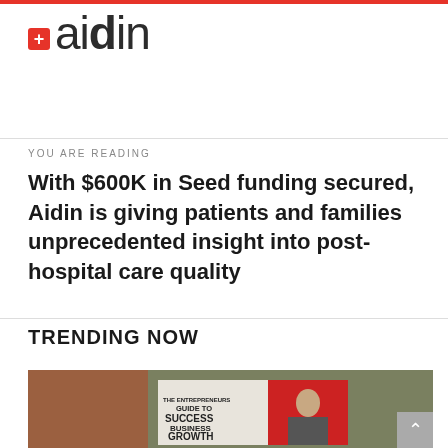[Figure (logo): Aidin logo with red plus-sign icon and stylized text 'aidin']
YOU ARE READING
With $600K in Seed funding secured, Aidin is giving patients and families unprecedented insight into post-hospital care quality
TRENDING NOW
[Figure (photo): Person sitting in a cafe-like setting reading a book titled 'The Entrepreneurs Guide to Success & Business Growth', with another person visible in the background]